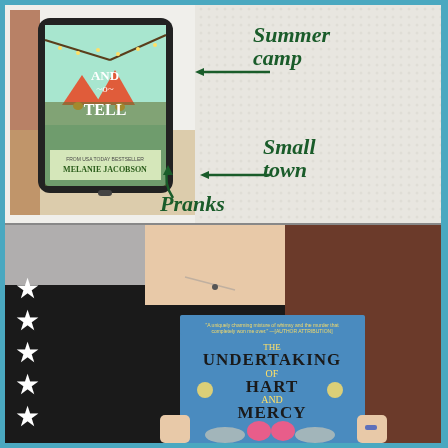[Figure (photo): Top half: A tablet device showing the book cover 'Show and Tell' by Melanie Jacobson (USA Today Bestseller), with a summer camp scene (tents, fairy lights, trees) on a mint green background. The tablet sits on a wooden surface with a person's hair visible. Handwritten-style annotations in dark green: 'Summer camp' with an arrow pointing to the tablet, 'Small town' with an arrow, and 'Pranks' with an arrow. Background is a white textured fabric.]
[Figure (photo): Bottom half: A person wearing a black t-shirt holding up the book 'The Undertaking of Hart and Mercy' (blue cover with skeleton hands and a pink heart). Five white stars are visible on the left side of the image, indicating a 5-star rating.]